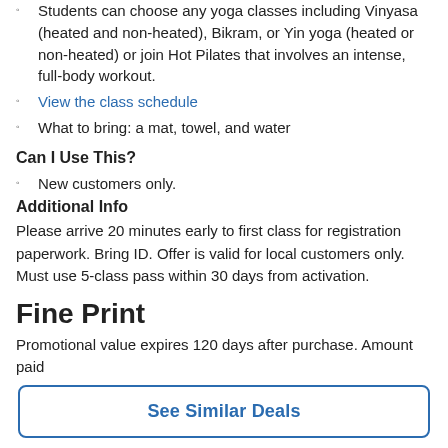Students can choose any yoga classes including Vinyasa (heated and non-heated), Bikram, or Yin yoga (heated or non-heated) or join Hot Pilates that involves an intense, full-body workout.
View the class schedule
What to bring: a mat, towel, and water
Can I Use This?
New customers only.
Additional Info
Please arrive 20 minutes early to first class for registration paperwork. Bring ID. Offer is valid for local customers only. Must use 5-class pass within 30 days from activation.
Fine Print
Promotional value expires 120 days after purchase. Amount paid
See Similar Deals